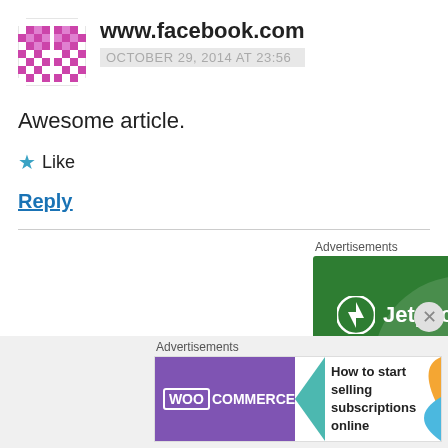www.facebook.com
OCTOBER 29, 2014 AT 23:56
Awesome article.
Like
Reply
[Figure (advertisement): Jetpack advertisement banner with green background, Jetpack logo and text 'The best real-time']
[Figure (advertisement): WooCommerce advertisement: 'How to start selling subscriptions online']